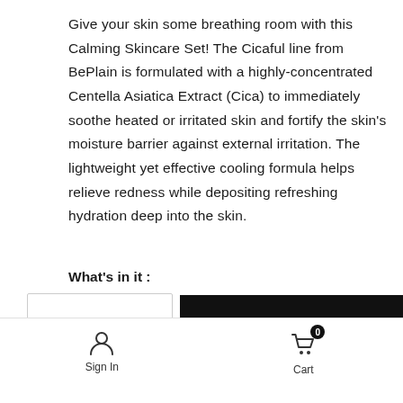Give your skin some breathing room with this Calming Skincare Set! The Cicaful line from BePlain is formulated with a highly-concentrated Centella Asiatica Extract (Cica) to immediately soothe heated or irritated skin and fortify the skin's moisture barrier against external irritation. The lightweight yet effective cooling formula helps relieve redness while depositing refreshing hydration deep into the skin.
What's in it :
1 x Cicaful Calming Pad Full Size — $22
1 x Cicaful Ampoule II Full Size — $25
Sign In   Cart 0